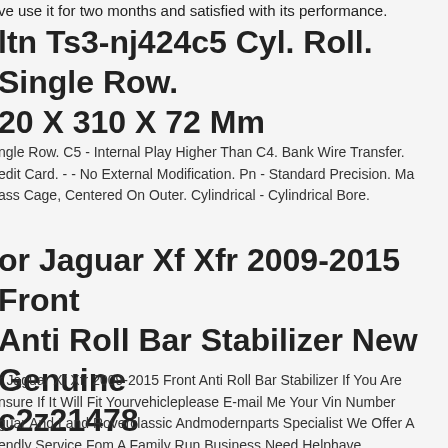ve use it for two months and satisfied with its performance.
ltn Ts3-nj424c5 Cyl. Roll. Single Row. 20 X 310 X 72 Mm
ngle Row. C5 - Internal Play Higher Than C4. Bank Wire Transfer. edit Card. - - No External Modification. Pn - Standard Precision. Ma ass Cage, Centered On Outer. Cylindrical - Cylindrical Bore.
or Jaguar Xf Xfr 2009-2015 Front Anti Roll Bar Stabilizer New Genuine c2z21478
r Jaguar Xf Xfr 2009-2015 Front Anti Roll Bar Stabilizer If You Are nsure If It Will Fit Yourvehicleplease E-mail Me Your Vin Number guar And Land Roverclassic Andmodernparts Specialist We Offer A endly Service Fom A Family Run Business Need Helphave